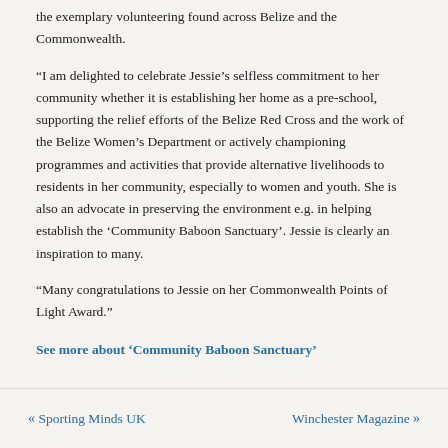the exemplary volunteering found across Belize and the Commonwealth.
“I am delighted to celebrate Jessie’s selfless commitment to her community whether it is establishing her home as a pre-school, supporting the relief efforts of the Belize Red Cross and the work of the Belize Women’s Department or actively championing programmes and activities that provide alternative livelihoods to residents in her community, especially to women and youth. She is also an advocate in preserving the environment e.g. in helping establish the ‘Community Baboon Sanctuary’. Jessie is clearly an inspiration to many.
“Many congratulations to Jessie on her Commonwealth Points of Light Award.”
See more about ‘Community Baboon Sanctuary’
« Sporting Minds UK    Winchester Magazine »